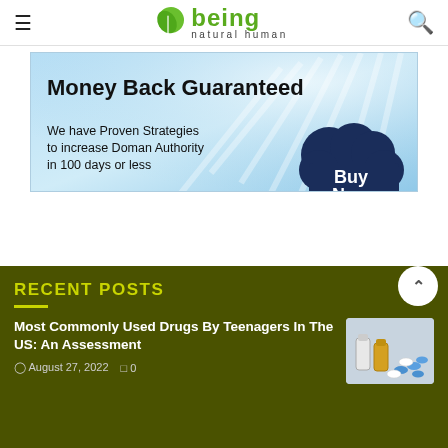being natural human
[Figure (illustration): Advertisement banner with light blue background and sunray pattern. Title reads 'Money Back Guaranteed'. Body text: 'We have Proven Strategies to increase Doman Authority in 100 days or less'. A dark navy cloud shape with 'Buy Now' in white text on the right.]
RECENT POSTS
Most Commonly Used Drugs By Teenagers In The US: An Assessment
August 27, 2022   0
[Figure (photo): Photo of medicine bottles and blue and white pills/capsules spilled out, on a white surface.]